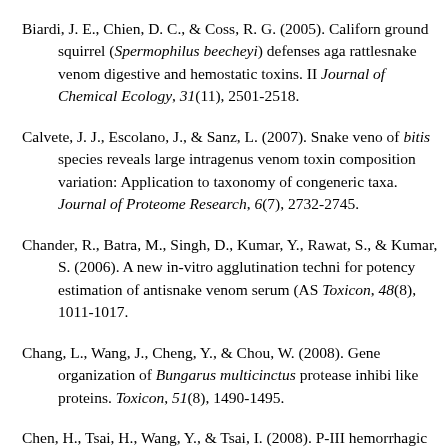Biardi, J. E., Chien, D. C., & Coss, R. G. (2005). California ground squirrel (Spermophilus beecheyi) defenses against rattlesnake venom digestive and hemostatic toxins. II. Journal of Chemical Ecology, 31(11), 2501-2518.
Calvete, J. J., Escolano, J., & Sanz, L. (2007). Snake venomics of bitis species reveals large intragenus venom toxin composition variation: Application to taxonomy of congeneric taxa. Journal of Proteome Research, 6(7), 2732-2745.
Chander, R., Batra, M., Singh, D., Kumar, Y., Rawat, S., & Kumar, S. (2006). A new in-vitro agglutination technique for potency estimation of antisnake venom serum (ASV). Toxicon, 48(8), 1011-1017.
Chang, L., Wang, J., Cheng, Y., & Chou, W. (2008). Gene organization of Bungarus multicinctus protease inhibitor-like proteins. Toxicon, 51(8), 1490-1495.
Chen, H., Tsai, H., Wang, Y., & Tsai, I. (2008). P-III hemorrhagic metalloproteinases from Russell's viper venom: Cloning, characterization, phylogenetic and functional site analyses. Biochimie, 90(10), 1486-149...